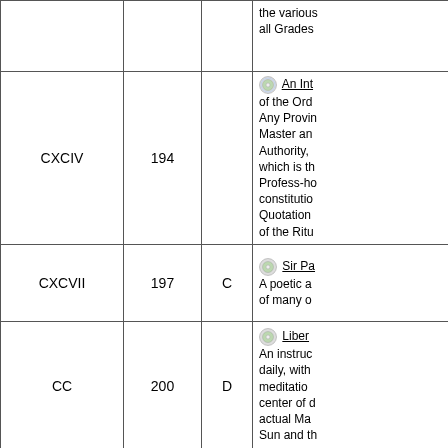| Roman | Number | Grade | Description |
| --- | --- | --- | --- |
|  |  |  | the various... all Grades... |
| CXCIV | 194 |  | An Int... of the Ord... Any Provin... Master an... Authority,... which is th... Profess-ho... constitutio... Quotation... of the Ritu... |
| CXCVII | 197 | C | Sir Pa... A poetic a... of many o... |
| CC | 200 | D | Liber... An instruc... daily, with... meditatio... center of d... actual Ma... Sun and th... |
| CCVI | 206 | D | Liber... Full instru... practices o... success, w... them for th... |
|  |  |  |  |